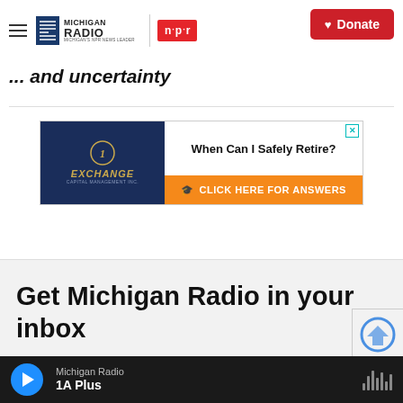Michigan Radio | NPR | Donate
... and uncertainty
[Figure (other): Advertisement: Exchange Capital Management Inc. - 'When Can I Safely Retire? CLICK HERE FOR ANSWERS']
Get Michigan Radio in your inbox
Michigan Radio | 1A Plus